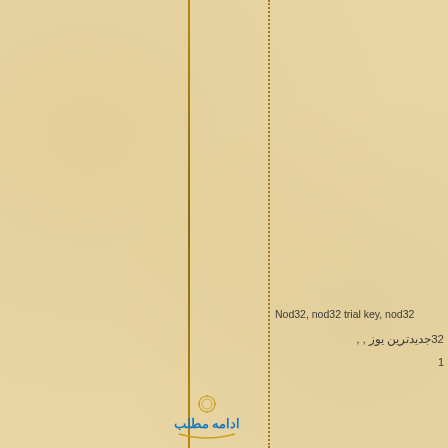[Figure (illustration): Decorative parchment page with two vertical lines — one solid gold/brown line and one dotted gold line — dividing the page into sections. Background is aged parchment/beige texture.]
Nod32, nod32 trial key, nod32
32جدیدترین یوز , ,
1
[Figure (logo): Logo with stylized Persian text 'ادامه مطلب' (Continue reading) with decorative elements in blue and gold]